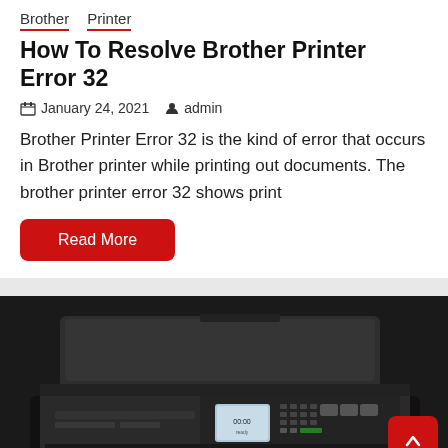Brother  Printer
How To Resolve Brother Printer Error 32
January 24, 2021   admin
Brother Printer Error 32 is the kind of error that occurs in Brother printer while printing out documents. The brother printer error 32 shows print
Read More
[Figure (photo): Photo of a Brother multifunction inkjet printer, black color, showing the top automatic document feeder, control panel with keypad and small LCD screen, and paper output tray with printed pages visible. A red back-to-top button appears in the bottom right corner.]